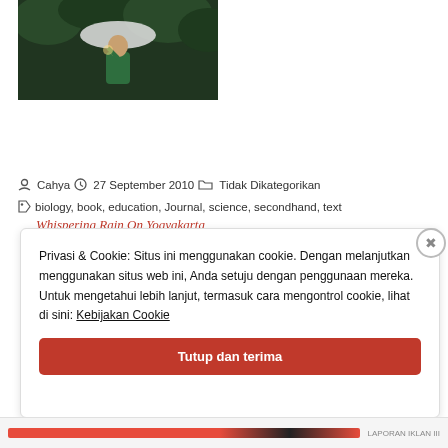[Figure (photo): Person holding umbrella in rain, outdoors at night, wearing green raincoat]
Whispering Rain On Yogyakarta
Cahya  27 September 2010  Tidak Dikategorikan
biology, book, education, Journal, science, secondhand, text
Privasi & Cookie: Situs ini menggunakan cookie. Dengan melanjutkan menggunakan situs web ini, Anda setuju dengan penggunaan mereka.
Untuk mengetahui lebih lanjut, termasuk cara mengontrol cookie, lihat di sini: Kebijakan Cookie
Tutup dan terima